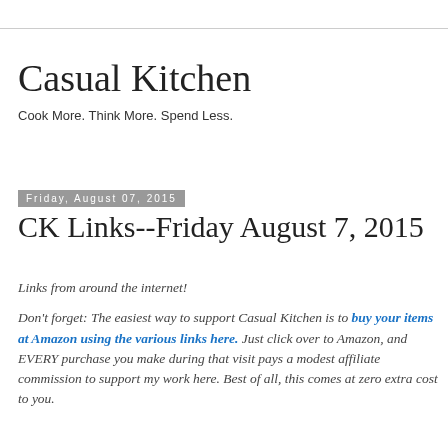Casual Kitchen
Cook More. Think More. Spend Less.
Friday, August 07, 2015
CK Links--Friday August 7, 2015
Links from around the internet!
Don't forget: The easiest way to support Casual Kitchen is to buy your items at Amazon using the various links here. Just click over to Amazon, and EVERY purchase you make during that visit pays a modest affiliate commission to support my work here. Best of all, this comes at zero extra cost to you.